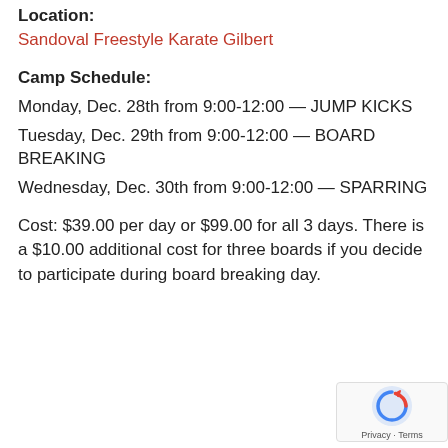Location:
Sandoval Freestyle Karate Gilbert
Camp Schedule:
Monday, Dec. 28th from 9:00-12:00 — JUMP KICKS
Tuesday, Dec. 29th from 9:00-12:00 — BOARD BREAKING
Wednesday, Dec. 30th from 9:00-12:00 — SPARRING
Cost: $39.00 per day or $99.00 for all 3 days. There is a $10.00 additional cost for three boards if you decide to participate during board breaking day.